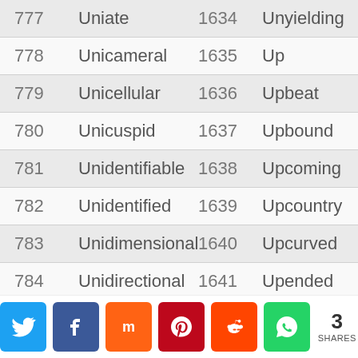| # | Word | # | Word |
| --- | --- | --- | --- |
| 777 | Uniate | 1634 | Unyielding |
| 778 | Unicameral | 1635 | Up |
| 779 | Unicellular | 1636 | Upbeat |
| 780 | Unicuspid | 1637 | Upbound |
| 781 | Unidentifiable | 1638 | Upcoming |
| 782 | Unidentified | 1639 | Upcountry |
| 783 | Unidimensional | 1640 | Upcurved |
| 784 | Unidirectional | 1641 | Upended |
[Figure (other): Social share bar with Twitter, Facebook, Mix, Pinterest, Reddit, WhatsApp buttons and share count of 3]